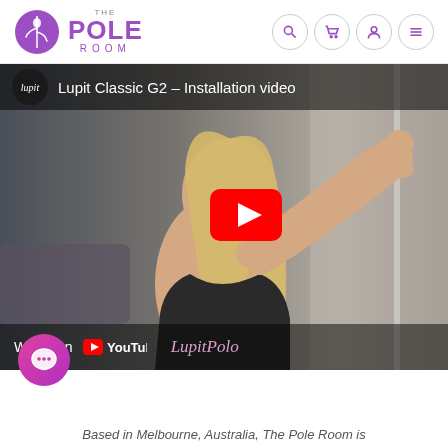THE POLE ROOM
[Figure (screenshot): YouTube video thumbnail for 'Lupit Classic G2 - Installation video' showing a blonde woman holding a dance pole, with a red YouTube play button overlay and 'Watch on YouTube' bar at the bottom. The Lupit Pole logo watermark is visible.]
Based in Melbourne, Australia, The Pole Room is